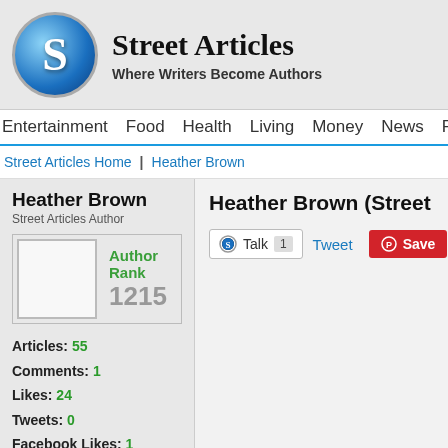Street Articles — Where Writers Become Authors
Entertainment | Food | Health | Living | Money | News | Politics | Spo...
Street Articles Home | Heather Brown
Heather Brown (Street Articles Author)
Heather Brown
Street Articles Author
Author Rank
1215
Articles: 55
Comments: 1
Likes: 24
Tweets: 0
Facebook Likes: 1
My Tribe: 6